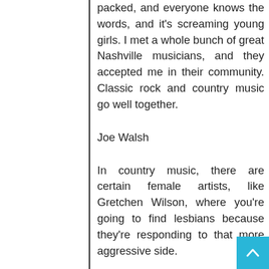packed, and everyone knows the words, and it's screaming young girls. I met a whole bunch of great Nashville musicians, and they accepted me in their community. Classic rock and country music go well together.
Joe Walsh
In country music, there are certain female artists, like Gretchen Wilson, where you're going to find lesbians because they're responding to that more aggressive side.